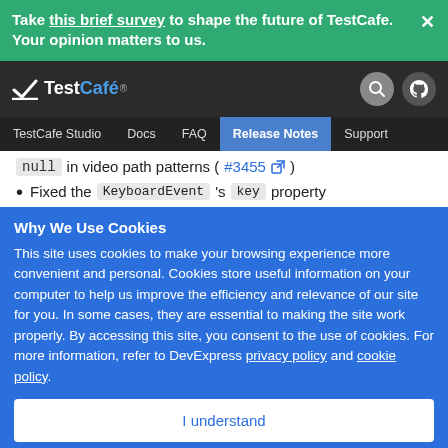Take this brief survey to shape the future of TestCafe. Your opinion matters to us.
[Figure (screenshot): TestCafé logo with checkmark in dark navigation bar, with search and GitHub icons]
TestCafe Studio  Docs  FAQ  Release Notes  Support
null in video path patterns (#3455 external link)
Fixed the KeyboardEvent's key property
Why We Use Cookies
This site uses cookies to make your browsing experience more convenient and personal. Cookies store useful information on your computer to help us improve the efficiency and relevance of our site for you. In some cases, they are essential to making the site work properly. By accessing this site, you consent to the use of cookies. For more information, refer to DevExpress privacy policy and cookie policy.
I understand
TestCafe now correctly handles websites that